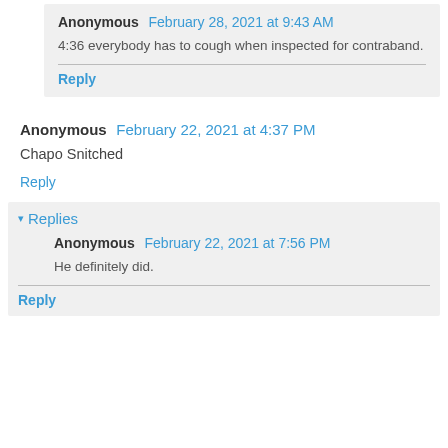Anonymous February 28, 2021 at 9:43 AM
4:36 everybody has to cough when inspected for contraband.
Reply
Anonymous February 22, 2021 at 4:37 PM
Chapo Snitched
Reply
Replies
Anonymous February 22, 2021 at 7:56 PM
He definitely did.
Reply